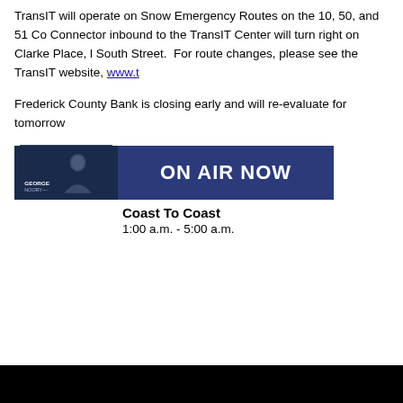TransIT will operate on Snow Emergency Routes on the 10, 50, and 51 Co Connector inbound to the TransIT Center will turn right on Clarke Place, l South Street.  For route changes, please see the TransIT website, www.t
Frederick County Bank is closing early and will re-evaluate for tomorrow
[Figure (other): On Air Now widget showing George Noory Coast To Coast radio show. Left section: dark navy thumbnail with host image and name 'GEORGE NOORY'. Right section: blue banner with white bold text 'ON AIR NOW'. Below: show title 'Coast To Coast' and time '1:00 a.m. - 5:00 a.m.']